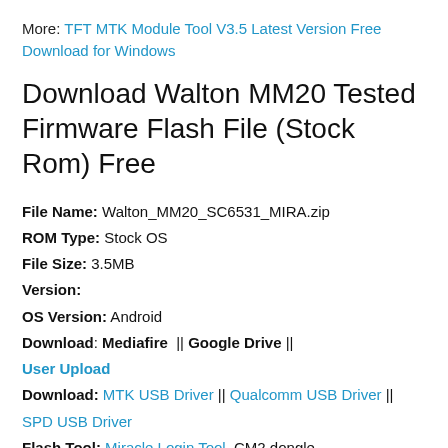More: TFT MTK Module Tool V3.5 Latest Version Free Download for Windows
Download Walton MM20 Tested Firmware Flash File (Stock Rom) Free
File Name: Walton_MM20_SC6531_MIRA.zip
ROM Type: Stock OS
File Size: 3.5MB
Version:
OS Version: Android
Download: Mediafire || Google Drive || User Upload
Download: MTK USB Driver || Qualcomm USB Driver || SPD USB Driver
Flash Tool: Miracle Login Tool, CM2 dongle